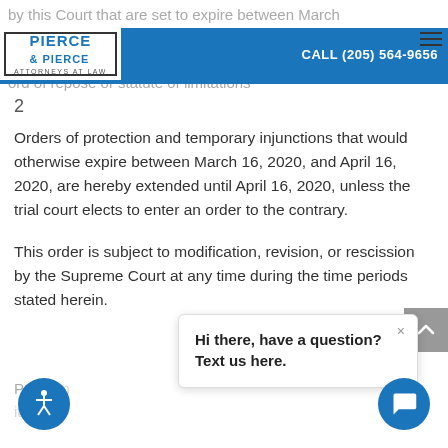by this Court that are set to expire between March April 16, 2020 , are hereby extended to . This Court cannot extend any ord of repose or statute of limitations
PIERCE & PIERCE ATTORNEYS AT LAW | CALL (205) 564-9656
2
Orders of protection and temporary injunctions that would otherwise expire between March 16, 2020, and April 16, 2020, are hereby extended until April 16, 2020, unless the trial court elects to enter an order to the contrary.
This order is subject to modification, revision, or rescission by the Supreme Court at any time during the time periods stated herein.
Park am itc
Hi there, have a question? Text us here.